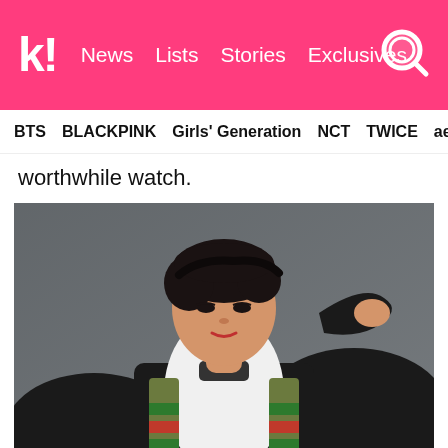k! News Lists Stories Exclusives
BTS BLACKPINK Girls' Generation NCT TWICE aespa
worthwhile watch.
[Figure (photo): A young Asian man with dark hair touching the back of his head, wearing a white hoodie with a green and red striped vest/jacket, black outer jacket, posing against a gray background.]